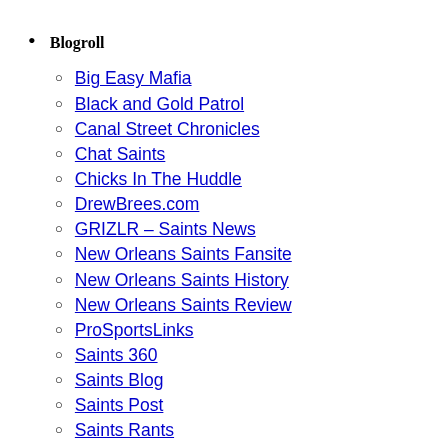Blogroll
Big Easy Mafia
Black and Gold Patrol
Canal Street Chronicles
Chat Saints
Chicks In The Huddle
DrewBrees.com
GRIZLR – Saints News
New Orleans Saints Fansite
New Orleans Saints History
New Orleans Saints Review
ProSportsLinks
Saints 360
Saints Blog
Saints Post
Saints Rants
Saints Report
The Times-Picayune
Who Dat Dish
Who Dat Nation